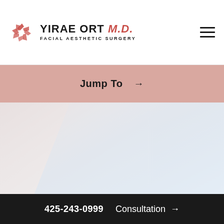YIRAE ORT M.D. FACIAL AESTHETIC SURGERY
Jump To →
[Figure (photo): Hero image area with soft gradient background in pink/mauve and light blue tones]
425-243-0999  Consultation →